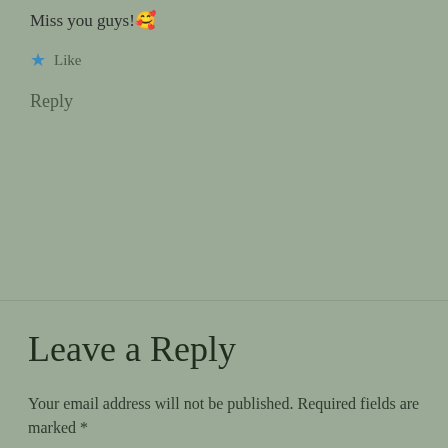Miss you guys!🥰
★ Like
Reply
Leave a Reply
Your email address will not be published. Required fields are marked *
Comment *